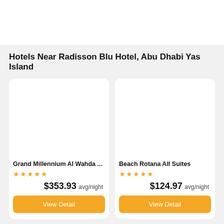Hotels Near Radisson Blu Hotel, Abu Dhabi Yas Island
[Figure (other): Hotel card for Grand Millennium Al Wahda with 5 stars, price $353.93 avg/night and View Detail button]
[Figure (other): Hotel card for Beach Rotana All Suites with 5 stars, price $124.97 avg/night and View Detail button]